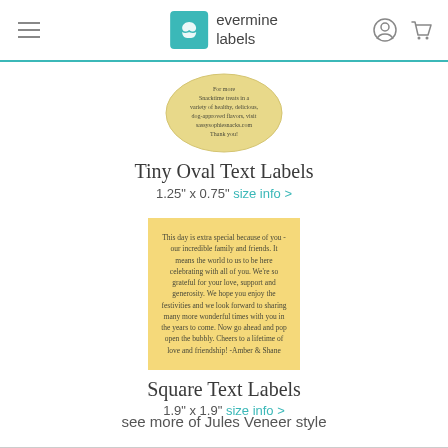evermine labels
[Figure (illustration): Oval text label with yellow-beige background showing product description text for sassysophiesnacks.com]
Tiny Oval Text Labels
1.25" x 0.75" size info >
[Figure (illustration): Square yellow label with italic text: This day is extra special because of you - our incredible family and friends. It means the world to us to be here celebrating with all of you. We're so grateful for your love, support and generosity. We hope you enjoy the festivities and we look forward to sharing many more wonderful times with you in the years to come. Now go ahead and pop open the bubbly. Cheers to a lifetime of love and friendship! -Amber & Shane]
Square Text Labels
1.9" x 1.9" size info >
see more of Jules Veneer style